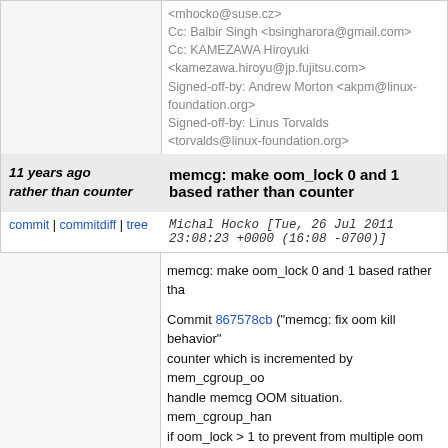<mhocko@suse.cz>
Cc: Balbir Singh <bsingharora@gmail.com>
Cc: KAMEZAWA Hiroyuki <kamezawa.hiroyu@jp.fujitsu.com>
Signed-off-by: Andrew Morton <akpm@linux-foundation.org>
Signed-off-by: Linus Torvalds <torvalds@linux-foundation.org>
11 years ago rather than counter — memcg: make oom_lock 0 and 1 based rather than counter
commit | commitdiff | tree    Michal Hocko [Tue, 26 Jul 2011 23:08:23 +0000 (16:08 -0700)]
memcg: make oom_lock 0 and 1 based rather tha

Commit 867578cb ("memcg: fix oom kill behavior": counter which is incremented by mem_cgroup_oo handle memcg OOM situation.  mem_cgroup_han if oom_lock > 1 to prevent from multiple oom kills a The counter is then decremented by mem_cgrou same function.

This works correctly but it can lead to serious star many processes triggering OOM and many CPUs tested with 16 CPUs).

Consider a process (call it A) which gets the oom_ that got to mem_cgroup_handle_oom and grabbe processes that are blocked on the mutex.  While A